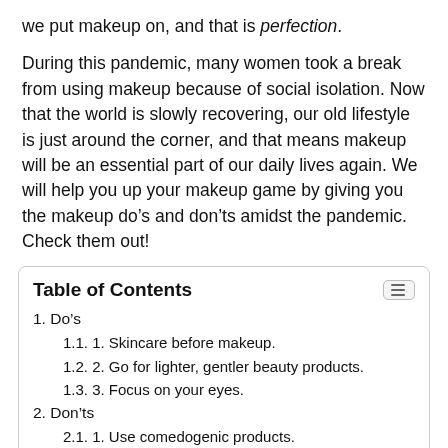we put makeup on, and that is perfection.
During this pandemic, many women took a break from using makeup because of social isolation. Now that the world is slowly recovering, our old lifestyle is just around the corner, and that means makeup will be an essential part of our daily lives again. We will help you up your makeup game by giving you the makeup do’s and don’ts amidst the pandemic. Check them out!
Table of Contents
1. Do’s
1.1. 1. Skincare before makeup.
1.2. 2. Go for lighter, gentler beauty products.
1.3. 3. Focus on your eyes.
2. Don’ts
2.1. 1. Use comedogenic products.
2.2. 2. Use too much lip products when wearing a mask.
2.3. 3. Apply makeup on a dirty, greasy face.